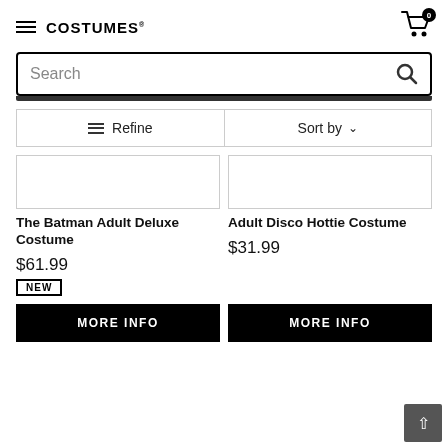COSTUMES | Cart: 0
Search
Refine | Sort by
[Figure (other): Product image placeholder for The Batman Adult Deluxe Costume]
The Batman Adult Deluxe Costume
$61.99
NEW
MORE INFO
[Figure (other): Product image placeholder for Adult Disco Hottie Costume]
Adult Disco Hottie Costume
$31.99
MORE INFO